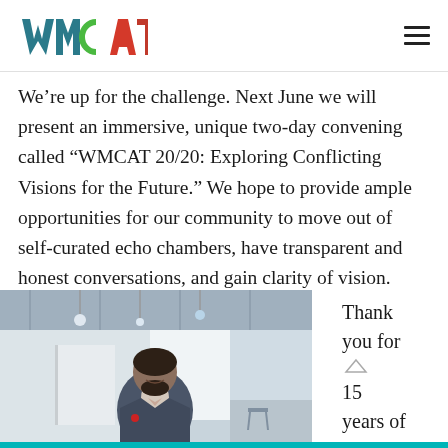WMCAT
We’re up for the challenge. Next June we will present an immersive, unique two-day convening called “WMCAT 20/20: Exploring Conflicting Visions for the Future.” We hope to provide ample opportunities for our community to move out of self-curated echo chambers, have transparent and honest conversations, and gain clarity of vision.
[Figure (photo): A man in a suit jacket smiling in a modern interior space with pendant lights and white walls]
Thank you for 15 years of